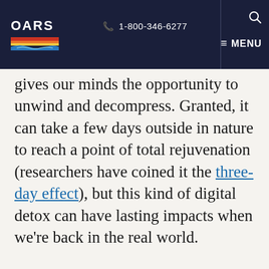OARS | 1-800-346-6277 | MENU
gives our minds the opportunity to unwind and decompress. Granted, it can take a few days outside in nature to reach a point of total rejuvenation (researchers have coined it the three-day effect), but this kind of digital detox can have lasting impacts when we're back in the real world.